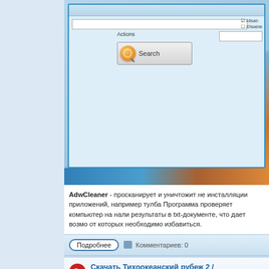[Figure (screenshot): Partial screenshot of AdwCleaner application UI showing Actions section with Search button and orange bug icon]
AdwCleaner - просканирует и уничтожит не инсталляции приложений, например тулба Программа проверяет компьютер на нали результаты в txt-документе, что дает возмо от которых необходимо избавиться.
Подробнее    Комментариев: 0
Скачать Тихоокеанский рубеж 2 / HDTVRip/HDTV 720p/HDTV 1080p
Автор: Yurenc09    Дата: 30 апреля
[Figure (screenshot): Broken image placeholder for Тихоокеанский рубеж 2 / Pacific Rim movie]
Чистый официальный звук! / Дублир
Команда пилотируемых роботов-защитник монстров. Великая битва за Тихоокеанский Однако война только начинается...